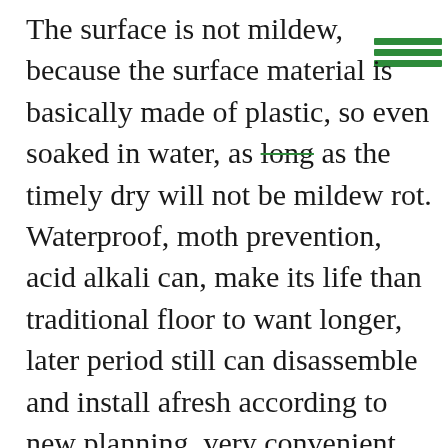The surface is not mildew, because the surface material is basically made of plastic, so even soaked in water, as long as the timely dry will not be mildew rot. Waterproof, moth prevention, acid alkali can, make its life than traditional floor to want longer, later period still can disassemble and install afresh according to new planning, very convenient.